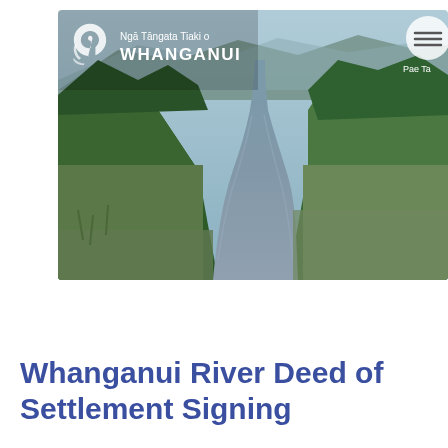[Figure (photo): Aerial view of the Whanganui River winding through green forested hills. The Ngā Tāngata Tiaki o Whanganui organization logo and name appear in the top-left corner of the photo, with a circular menu button in the top-right and 'Pae Ta' text below it.]
Whanganui River Deed of Settlement Signing